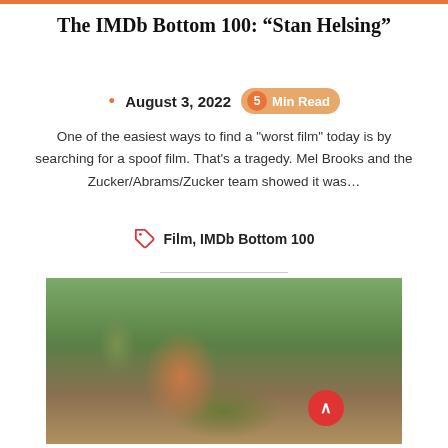The IMDb Bottom 100: “Stan Helsing”
August 3, 2022  5 Min Read
One of the easiest ways to find a "worst film" today is by searching for a spoof film. That's a tragedy. Mel Brooks and the Zucker/Abrams/Zucker team showed it was…
Film, IMDb Bottom 100
[Figure (photo): A woman with red hair wearing a white tactical outfit standing on a rural path with green hills and purple wildflowers in the background. Overlay badge shows '0 Comments' and '6'. Red scroll-to-top button in lower right.]